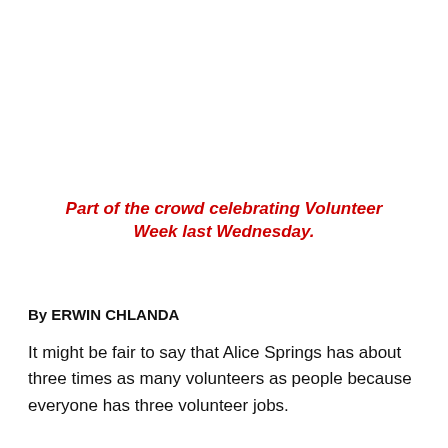Part of the crowd celebrating Volunteer Week last Wednesday.
By ERWIN CHLANDA
It might be fair to say that Alice Springs has about three times as many volunteers as people because everyone has three volunteer jobs.
“It’s a town of many hats,” says Hannah Maljcov, the regional